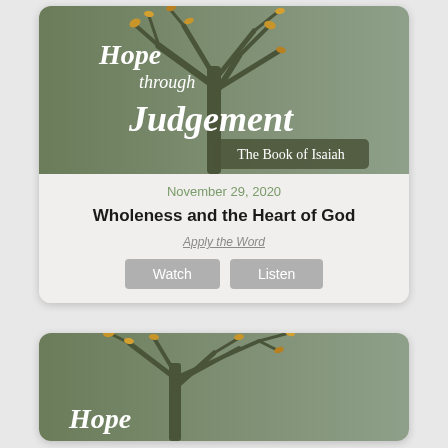[Figure (illustration): Hope through Judgement - The Book of Isaiah book cover art with a bare tree against a sage green background with golden leaves and script text]
November 29, 2020
Wholeness and the Heart of God
Apply the Word
Watch  Listen
[Figure (illustration): Hope through Judgement - The Book of Isaiah book cover art (partial), second card beginning, same tree design]